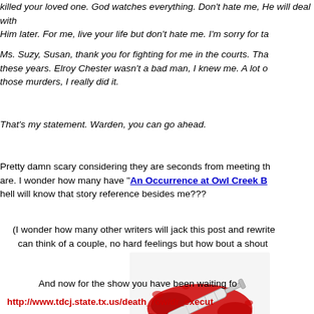killed your loved one. God watches everything. Don't hate me, He will deal with Him later. For me, live your life but don't hate me. I'm sorry for ta...
Ms. Suzy, Susan, thank you for fighting for me in the courts. That... these years. Elroy Chester wasn't a bad man, I knew me. A lot o... those murders, I really did it.
That's my statement. Warden, you can go ahead.
Pretty damn scary considering they are seconds from meeting th... are. I wonder how many have "An Occurrence at Owl Creek B... hell will know that story reference besides me???
(I wonder how many other writers will jack this post and rewrite... can think of a couple, no hard feelings but how bout a shout...
[Figure (photo): A syringe lying in a pool of blood on a white surface]
And now for the show you have been waiting fo...
http://www.tdcj.state.tx.us/death_row/dr_execut...